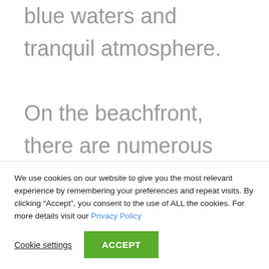blue waters and tranquil atmosphere.
On the beachfront, there are numerous bars and restaurants serving freshly made sea food and excellent Greek meals.
We use cookies on our website to give you the most relevant experience by remembering your preferences and repeat visits. By clicking “Accept”, you consent to the use of ALL the cookies. For more details visit our Privacy Policy
Cookie settings
ACCEPT